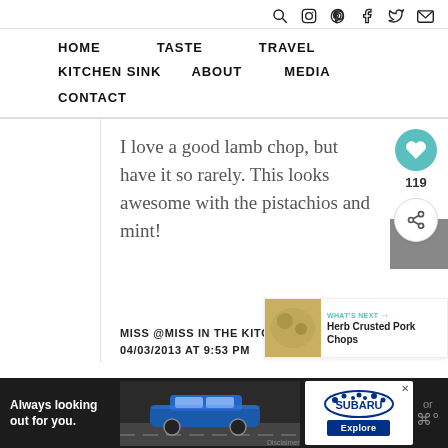HOME  TASTE  TRAVEL  KITCHEN SINK  ABOUT  MEDIA  CONTACT
I love a good lamb chop, but have it so rarely. This looks awesome with the pistachios and mint!
MISS @MISS IN THE KITCHEN SAYS
04/03/2013 AT 9:53 PM
[Figure (screenshot): Subaru advertisement banner at bottom: 'Always looking out for you.' with car image and Subaru logo with Explore button]